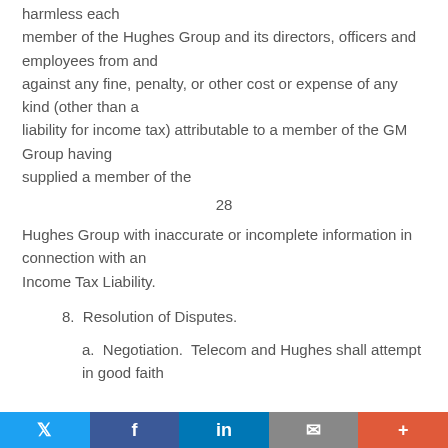harmless each member of the Hughes Group and its directors, officers and employees from and against any fine, penalty, or other cost or expense of any kind (other than a liability for income tax) attributable to a member of the GM Group having supplied a member of the
28
Hughes Group with inaccurate or incomplete information in connection with an Income Tax Liability.
8.  Resolution of Disputes.
a.  Negotiation.  Telecom and Hughes shall attempt in good faith
social share bar